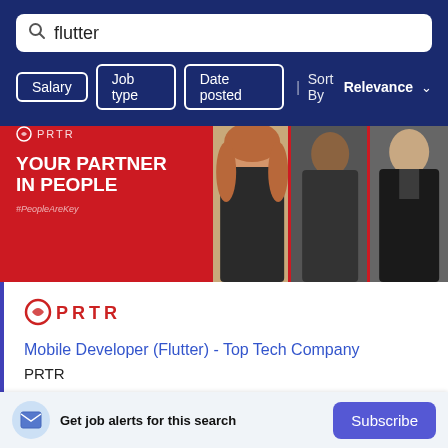flutter
Salary | Job type | Date posted | Sort By Relevance
[Figure (illustration): PRTR recruitment agency banner advertisement with red background showing text 'YOUR PARTNER IN PEOPLE #PeopleAreKey' and photos of three people]
[Figure (logo): PRTR company logo in red]
Mobile Developer (Flutter) - Top Tech Company
PRTR
Bangkok
Get job alerts for this search
Subscribe